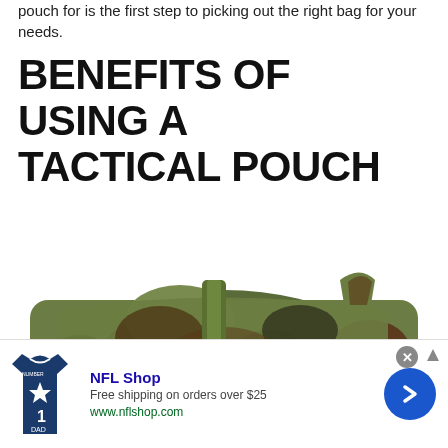pouch for is the first step to picking out the right bag for your needs.
BENEFITS OF USING A TACTICAL POUCH
[Figure (photo): A military-style camouflage tactical pouch with green webbing straps and black buckles, shown against a white background. Partially overlapping image of cinnamon rolls visible at lower right.]
[Figure (infographic): Advertisement banner: NFL Shop. Free shipping on orders over $25. www.nflshop.com. Shows a Dallas Cowboys NFL jersey on the left and a blue circular arrow button on the right. Close button (X) in top right corner.]